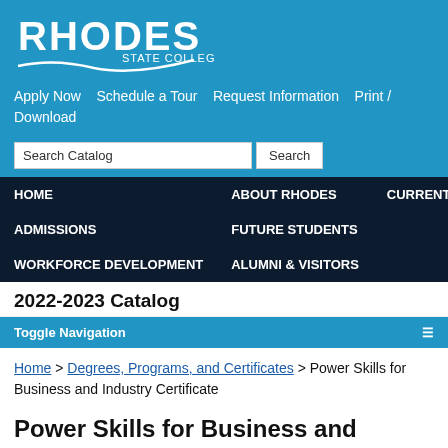[Figure (logo): Rhodes State College logo in white on blue background]
Apply Now   Schedule a Tour   Request Information   Print / Download
Search Catalog  Search
HOME   ABOUT RHODES   CURRENT STUDENTS   ADMISSIONS   FUTURE STUDENTS   WORKFORCE DEVELOPMENT   ALUMNI & VISITORS
2022-2023 Catalog
Toggle Navigation
Home > Degrees, Programs, and Certificates > Power Skills for Business and Industry Certificate
Power Skills for Business and Industry Certificate